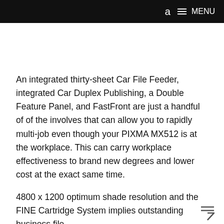a  MENU
An integrated thirty-sheet Car File Feeder, integrated Car Duplex Publishing, a Double Feature Panel, and FastFront are just a handful of of the involves that can allow you to rapidly multi-job even though your PIXMA MX512 is at the workplace. This can carry workplace effectiveness to brand new degrees and lower cost at the exact same time.
4800 x 1200 optimum shade resolution and the FINE Cartridge System implies outstanding business file